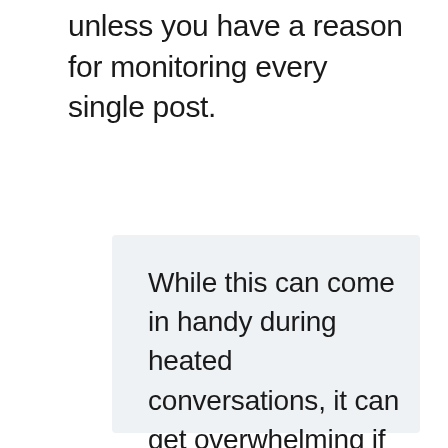unless you have a reason for monitoring every single post.
While this can come in handy during heated conversations, it can get overwhelming if you are the only Admin.